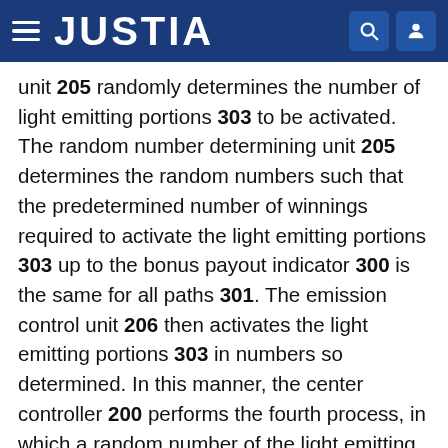JUSTIA
unit 205 randomly determines the number of light emitting portions 303 to be activated. The random number determining unit 205 determines the random numbers such that the predetermined number of winnings required to activate the light emitting portions 303 up to the bonus payout indicator 300 is the same for all paths 301. The emission control unit 206 then activates the light emitting portions 303 in numbers so determined. In this manner, the center controller 200 performs the fourth process, in which a random number of the light emitting portions 303 are activated toward the bonus payout indicator 300 in a path 301 corresponding to a gaming terminal 10 in which a predetermined winning is met, every time the predetermined winning is met in the gaming terminals 10, such that the predetermined number of winnings required to activate the light emitting portions 303 up to